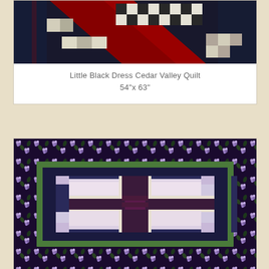[Figure (photo): Close-up photo of a quilt with black, red, and cream/white patchwork pattern — Little Black Dress Cedar Valley Quilt]
Little Black Dress Cedar Valley Quilt
54"x 63"
[Figure (photo): Photo of a quilt with purple/lilac floral border fabric and a central log cabin block design in dark navy, maroon, and cream floral fabrics arranged in a circular/medallion pattern]